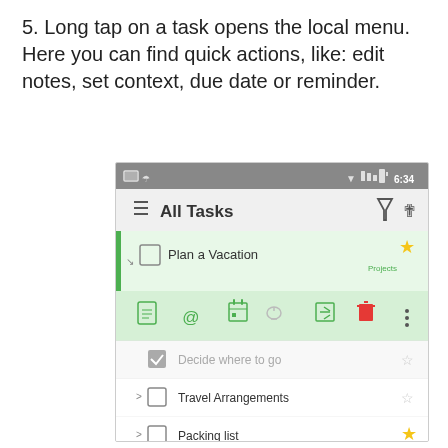5. Long tap on a task opens the local menu. Here you can find quick actions, like: edit notes, set context, due date or reminder.
[Figure (screenshot): Android app screenshot showing 'All Tasks' list with 'Plan a Vacation' task selected (green highlight, left green bar), a local context menu bar below it with icons for notes, at-symbol, calendar, lock, move, delete, and more. Below are tasks: 'Decide where to go' (checked/greyed), 'Travel Arrangements', 'Packing list' (starred), 'At the location', 'My reading list' (folder), and a sub-item 'Sources: Review best sellers in iTunes Quora — My top list: GTD by David Allen Rework by Jason...']